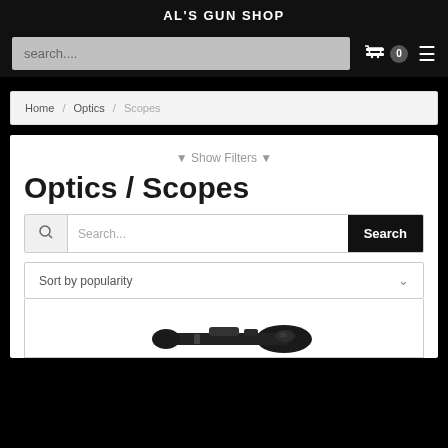AL'S GUN SHOP
search...
Home / Optics / Scopes
▼ Show Filters ▼
Optics / Scopes
Search...
Sort by popularity
[Figure (photo): Partial view of a rifle scope on white background]